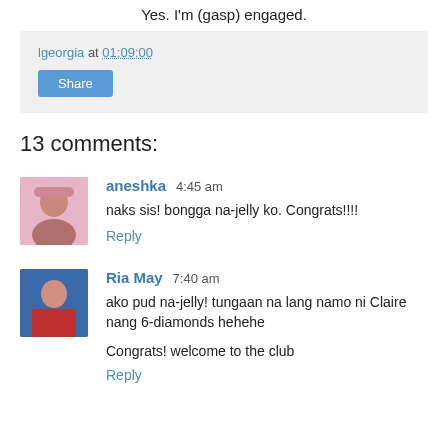Yes. I'm (gasp) engaged.
lgeorgia at 01:09:00
Share
13 comments:
aneshka 4:45 am
naks sis! bongga na-jelly ko. Congrats!!!!
Reply
Ria May 7:40 am
ako pud na-jelly! tungaan na lang namo ni Claire nang 6-diamonds hehehe

Congrats! welcome to the club
Reply